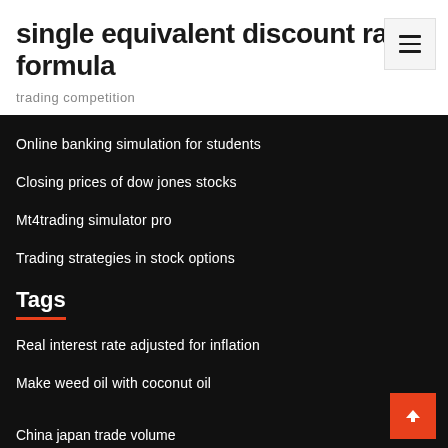single equivalent discount rate formula
trading competition
Online banking simulation for students
Closing prices of dow jones stocks
Mt4trading simulator pro
Trading strategies in stock options
Tags
Real interest rate adjusted for inflation
Make weed oil with coconut oil
China japan trade volume